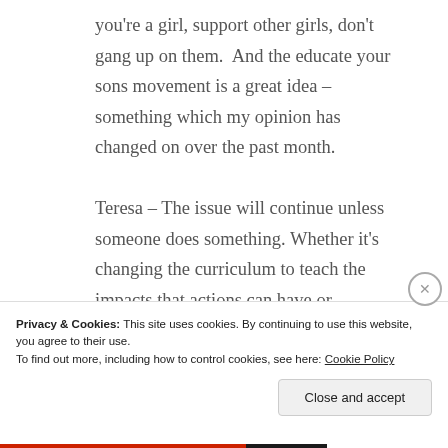you're a girl, support other girls, don't gang up on them.  And the educate your sons movement is a great idea – something which my opinion has changed on over the past month.

Teresa – The issue will continue unless someone does something. Whether it's changing the curriculum to teach the impacts that actions can have or
Privacy & Cookies: This site uses cookies. By continuing to use this website, you agree to their use.
To find out more, including how to control cookies, see here: Cookie Policy
Close and accept